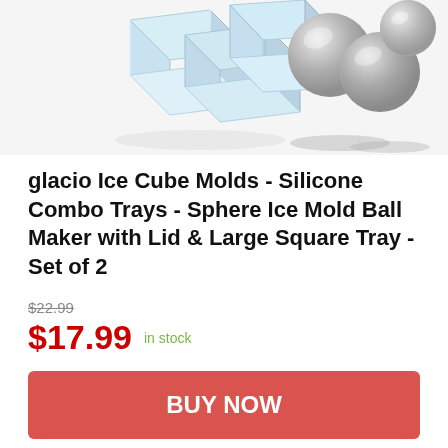[Figure (photo): Product photo showing ice cubes (square, clear) on the left and ice spheres/balls on the right, on a white background]
glacio Ice Cube Molds - Silicone Combo Trays - Sphere Ice Mold Ball Maker with Lid & Large Square Tray - Set of 2
$22.99
$17.99 in stock
BUY NOW
Amazon.com
as of May 21, 2022 4:49 pm